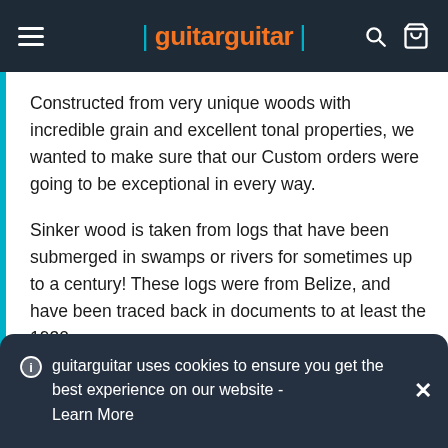guitarguitar
Constructed from very unique woods with incredible grain and excellent tonal properties, we wanted to make sure that our Custom orders were going to be exceptional in every way.
Sinker wood is taken from logs that have been submerged in swamps or rivers for sometimes up to a century! These logs were from Belize, and have been traced back in documents to at least the 1930s,
guitarguitar uses cookies to ensure you get the best experience on our website - Learn More
picked the most visually striking examples of Mahogany to make the bodies of these guitars